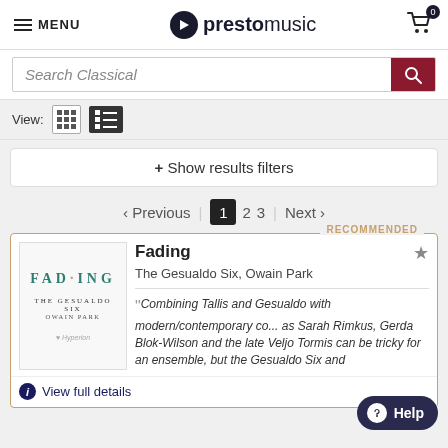MENU | prestomusic | Cart 0
Search Classical
View:
+ Show results filters
< Previous | 1 2 3 | Next >
RECOMMENDED
[Figure (illustration): Album cover for 'Fading' by The Gesualdo Six, Owain Park. White cover with teal stylized text 'FADING' with a decorative dot, subtitle 'THE GESUALDO SIX OWAIN PARK' below, and small publisher logo at bottom.]
Fading
The Gesualdo Six, Owain Park
“Combining Tallis and Gesualdo with modern/contemporary co... as Sarah Rimkus, Gerda Blok-Wilson and the late Veljo Tormis can be tricky for an ensemble, but the Gesualdo Six and
View full details